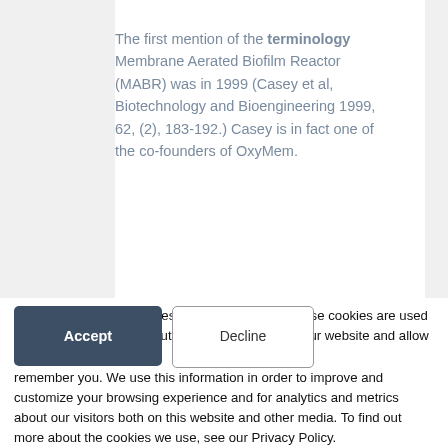The first mention of the terminology Membrane Aerated Biofilm Reactor (MABR) was in 1999 (Casey et al, Biotechnology and Bioengineering 1999, 62, (2), 183-192.) Casey is in fact one of the co-founders of OxyMem.
Commercialisation of MABR
So what about
This website stores cookies on your computer. These cookies are used to collect information about how you interact with our website and allow us to remember you. We use this information in order to improve and customize your browsing experience and for analytics and metrics about our visitors both on this website and other media. To find out more about the cookies we use, see our Privacy Policy.